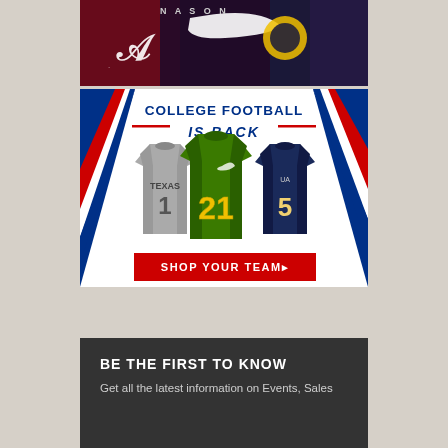[Figure (photo): Top portion of a sports/football themed image with dark background showing Alabama logo and Nike swoosh with yellow 'O' Oregon logo]
[Figure (infographic): College Football Is Back advertisement banner with three football jerseys (Texas #1 gray, Oregon #21 green, Notre Dame #5 navy) and 'SHOP YOUR TEAM' red button with red/white/blue diagonal stripes on sides]
BE THE FIRST TO KNOW
Get all the latest information on Events, Sales